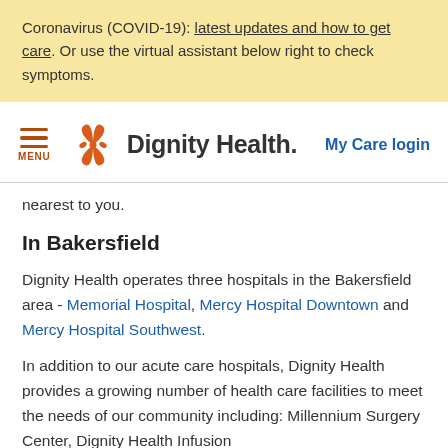Coronavirus (COVID-19): latest updates and how to get care. Or use the virtual assistant below right to check symptoms.
[Figure (logo): Dignity Health logo with orange butterfly/flower icon and text 'Dignity Health.' with 'My Care login' link on the right and hamburger menu on the left]
nearest to you.
In Bakersfield
Dignity Health operates three hospitals in the Bakersfield area - Memorial Hospital, Mercy Hospital Downtown and Mercy Hospital Southwest.
In addition to our acute care hospitals, Dignity Health provides a growing number of health care facilities to meet the needs of our community including: Millennium Surgery Center, Dignity Health Infusion